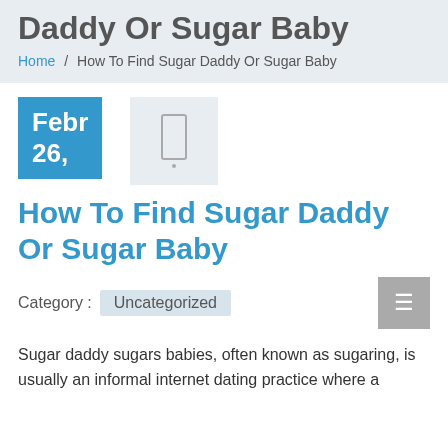Daddy Or Sugar Baby
Home / How To Find Sugar Daddy Or Sugar Baby
Febr 26,
How To Find Sugar Daddy Or Sugar Baby
Category : Uncategorized
Sugar daddy sugars babies, often known as sugaring, is usually an informal internet dating practice where a